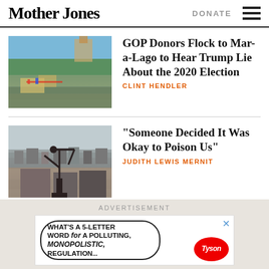Mother Jones | DONATE
[Figure (photo): Boats with Trump flags on water near a building with palm trees]
GOP Donors Flock to Mar-a-Lago to Hear Trump Lie About the 2020 Election
CLINT HENDLER
[Figure (photo): Oil pump jack in foreground with city skyline in background under hazy sky]
“Someone Decided It Was Okay to Poison Us”
JUDITH LEWIS MERNIT
ADVERTISEMENT
[Figure (photo): Advertisement: speech bubble reading WHAT’S A 5-LETTER WORD for A POLLUTING, MONOPOLISTIC, REGULATION... with Tyson logo]